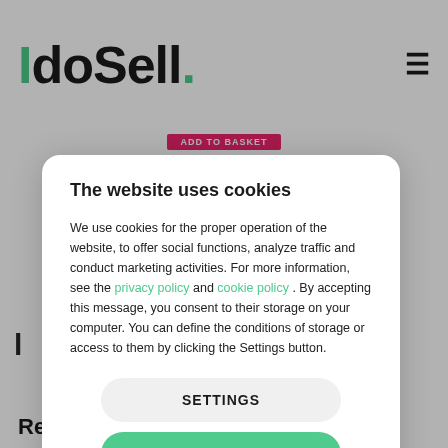IdoSell.
[Figure (screenshot): Partial view of an e-commerce product page with an 'ADD TO BASKET' button visible in the background behind the cookie consent modal.]
The website uses cookies
We use cookies for the proper operation of the website, to offer social functions, analyze traffic and conduct marketing activities. For more information, see the privacy policy and cookie policy . By accepting this message, you consent to their storage on your computer. You can define the conditions of storage or access to them by clicking the Settings button.
SETTINGS
AGREE
Responsiveness